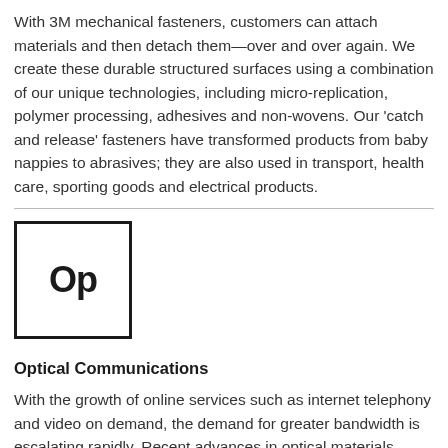With 3M mechanical fasteners, customers can attach materials and then detach them—over and over again. We create these durable structured surfaces using a combination of our unique technologies, including micro-replication, polymer processing, adhesives and non-wovens. Our 'catch and release' fasteners have transformed products from baby nappies to abrasives; they are also used in transport, health care, sporting goods and electrical products.
[Figure (logo): Square bordered logo box containing bold text 'Op' representing Optical Communications]
Optical Communications
With the growth of online services such as internet telephony and video on demand, the demand for greater bandwidth is escalating rapidly. Recent advances in optical materials...